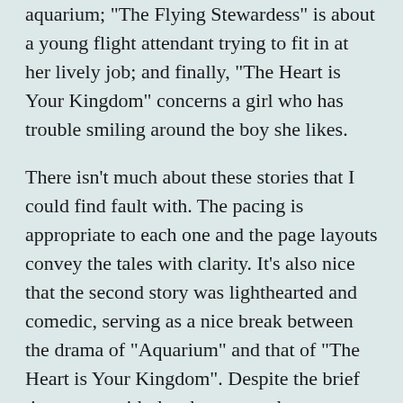aquarium; "The Flying Stewardess" is about a young flight attendant trying to fit in at her lively job; and finally, "The Heart is Your Kingdom" concerns a girl who has trouble smiling around the boy she likes.
There isn't much about these stories that I could find fault with. The pacing is appropriate to each one and the page layouts convey the tales with clarity. It's also nice that the second story was lighthearted and comedic, serving as a nice break between the drama of "Aquarium" and that of "The Heart is Your Kingdom". Despite the brief time spent with the characters, they are realistic, and their stories are heartfelt, if a bit melodramatic at times.
If there's one thing I would warn potential readers about, it's that this is most definitely an early 90s shoujo manga. The art style is old-fashioned by today's standards, which may be a bit of a turnoff to some people. If you can get past that hurdle, it's definitely worth the four dollars that it's now going for at Right Stuf. Aquarium made such an impression on me that I now have a handful of other short works by this mangaka on order. Here's hoping that they are